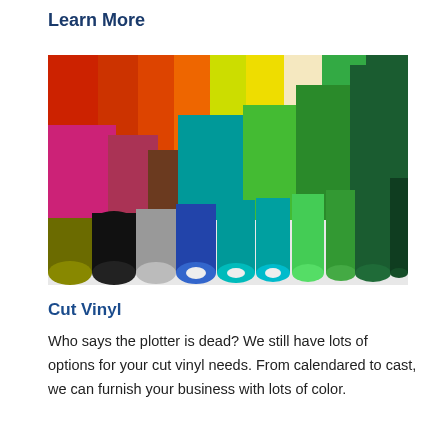Learn More
[Figure (photo): Multiple rolls of colorful vinyl in various colors including red, orange, yellow, pink, teal, green, dark green, black, grey, blue, arranged standing upright showing their ends and cylindrical sides.]
Cut Vinyl
Who says the plotter is dead? We still have lots of options for your cut vinyl needs. From calendared to cast, we can furnish your business with lots of color.